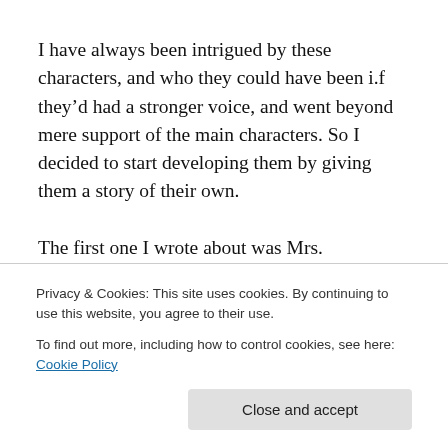I have always been intrigued by these characters, and who they could have been i.f they'd had a stronger voice, and went beyond mere support of the main characters. So I decided to start developing them by giving them a story of their own.
The first one I wrote about was Mrs. Dashwood from “Sense and Sensibility” in my novel “Mrs. Dashwood Returns”. This was because I always thought Mrs.
Privacy & Cookies: This site uses cookies. By continuing to use this website, you agree to their use.
To find out more, including how to control cookies, see here: Cookie Policy